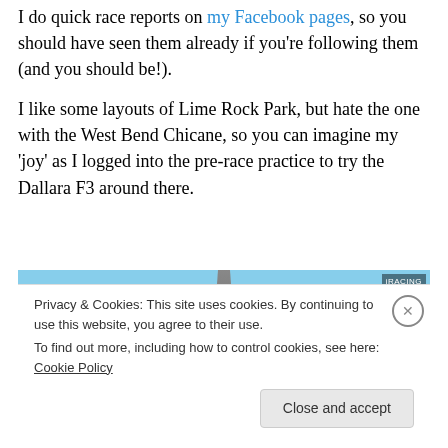I do quick race reports on my Facebook pages, so you should have seen them already if you're following them (and you should be!).
I like some layouts of Lime Rock Park, but hate the one with the West Bend Chicane, so you can imagine my 'joy' as I logged into the pre-race practice to try the Dallara F3 around there.
[Figure (photo): Screenshot of a racing simulation game showing the Lime Rock Park track with the West Bend Chicane layout. The image shows a straight road on a race circuit with green grass, trees, and blue sky in the background.]
Privacy & Cookies: This site uses cookies. By continuing to use this website, you agree to their use.
To find out more, including how to control cookies, see here: Cookie Policy